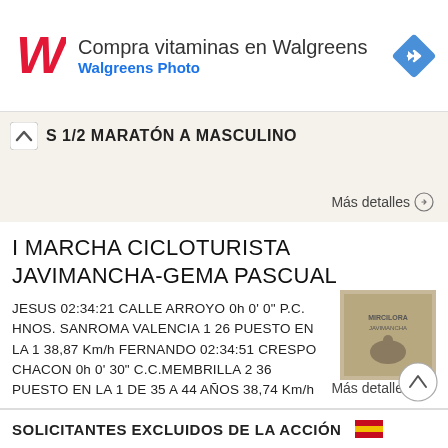[Figure (screenshot): Walgreens advertisement banner with logo, text 'Compra vitaminas en Walgreens', subtitle 'Walgreens Photo', and a blue diamond navigation arrow icon.]
S 1/2 MARATÓN A MASCULINO
Más detalles →
I MARCHA CICLOTURISTA JAVIMANCHA-GEMA PASCUAL
JESUS 02:34:21 CALLE ARROYO 0h 0' 0" P.C. HNOS. SANROMA VALENCIA 1 26 PUESTO EN LA 1 38,87 Km/h FERNANDO 02:34:51 CRESPO CHACON 0h 0' 30" C.C.MEMBRILLA 2 36 PUESTO EN LA 1 DE 35 A 44 AÑOS 38,74 Km/h
Más detalles →
SOLICITANTES EXCLUIDOS DE LA ACCIÓN